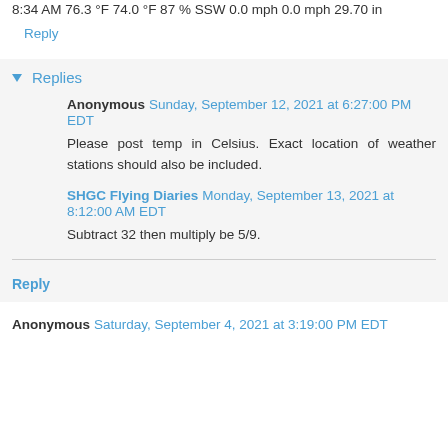8:34 AM 76.3 °F 74.0 °F 87 % SSW 0.0 mph 0.0 mph 29.70 in
Reply
Replies
Anonymous Sunday, September 12, 2021 at 6:27:00 PM EDT
Please post temp in Celsius. Exact location of weather stations should also be included.
SHGC Flying Diaries Monday, September 13, 2021 at 8:12:00 AM EDT
Subtract 32 then multiply be 5/9.
Reply
Anonymous Saturday, September 4, 2021 at 3:19:00 PM EDT